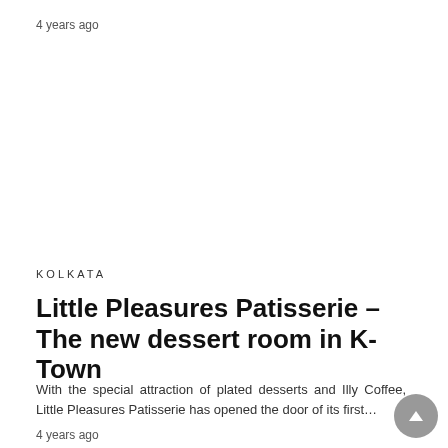4 years ago
KOLKATA
Little Pleasures Patisserie – The new dessert room in K-Town
With the special attraction of plated desserts and Illy Coffee, Little Pleasures Patisserie has opened the door of its first…
4 years ago